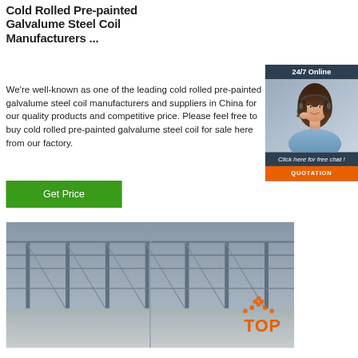Cold Rolled Pre-painted Galvalume Steel Coil Manufacturers ...
We're well-known as one of the leading cold rolled pre-painted galvalume steel coil manufacturers and suppliers in China for our quality products and competitive price. Please feel free to buy cold rolled pre-painted galvalume steel coil for sale here from our factory.
[Figure (photo): Customer service representative with headset smiling, inside a dark blue chat widget with '24/7 Online' header, 'Click here for free chat!' text, and an orange QUOTATION button.]
[Figure (photo): Industrial steel factory warehouse interior with large structural beams and scaffolding, with a TOP logo overlay in the bottom right corner.]